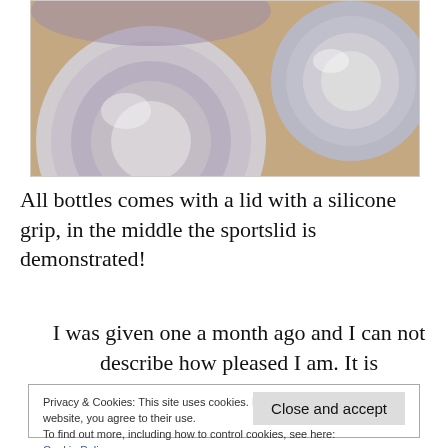[Figure (photo): Close-up photo of stainless steel bottle lids/bottoms viewed from above, showing metallic sheen on warm brown background]
All bottles comes with a lid with a silicone grip, in the middle the sportslid is demonstrated!
I was given one a month ago and I can not describe how pleased I am. It is comfortable to drink from, stylish, leak proof and my
Privacy & Cookies: This site uses cookies. By continuing to use this website, you agree to their use.
To find out more, including how to control cookies, see here:
Cookie Policy
Close and accept